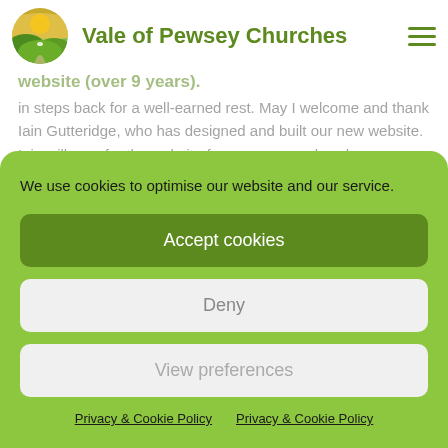Vale of Pewsey Churches
website (over 9 years).
in steps back for a well-earned rest. May I welcome and thank Iain Gutteridge, who has designed and built our new website. Iain will care for the website from now on and we hope you will get involved and that it may be a sign of God's Kingdom coming to help us see Hope renewed, as we 'Pray, Serve and Grow.'
So, let's thank the Lord for all His goodness and crack open a
We use cookies to optimise our website and our service.
Accept cookies
Deny
View preferences
Privacy & Cookie Policy   Privacy & Cookie Policy